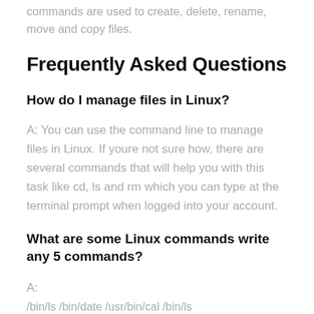commands are used to create, delete, rename, move and copy files.
Frequently Asked Questions
How do I manage files in Linux?
A: You can use the command line to manage files in Linux. If youre not sure how, there are several commands that will help you with this task like cd, ls and rm which you can type at the terminal prompt when logged into your account.
What are some Linux commands write any 5 commands?
A:
/bin/ls /bin/date /usr/bin/cal /bin/ls